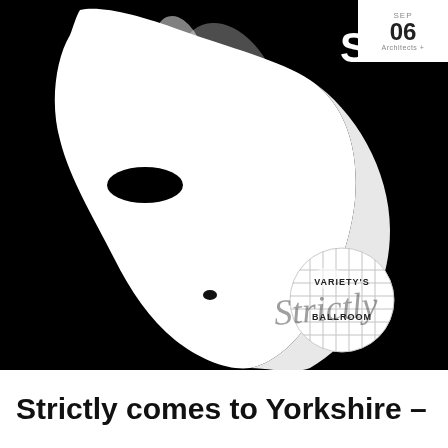[Figure (photo): A white Phantom of the Opera style half-mask against a black background. In the lower right corner is a disco ball with text 'VARIETY'S Strictly BALLROOM' overlaid. In the upper right area partially visible is a logo with 'S' and the text 'Architects +' and the number '06' with 'SEP' above it.]
Strictly comes to Yorkshire –